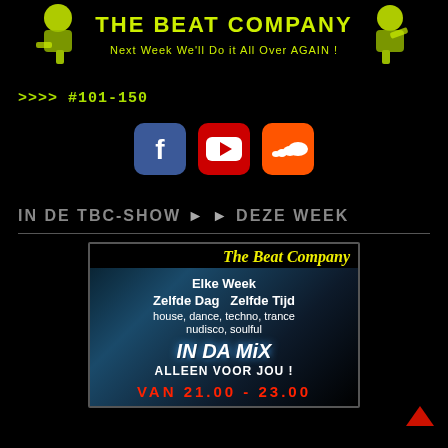[Figure (logo): The Beat Company banner logo with DJ figures and yellow text 'THE BEAT COMPANY' and tagline 'Next Week We'll Do it All Over AGAIN!' on black background]
>>>> #101-150
[Figure (infographic): Three social media icons: Facebook (blue), YouTube (red with play button), SoundCloud (orange)]
IN DE TBC-SHOW ► ► DEZE WEEK
[Figure (infographic): The Beat Company promotional card with yellow title, teal galaxy background, text: Elke Week, Zelfde Dag Zelfde Tijd, house, dance, techno, trance, nudisco, soulful, IN DA MiX, ALLEEN VOOR JOU!, VAN 21.00 - 23.00]